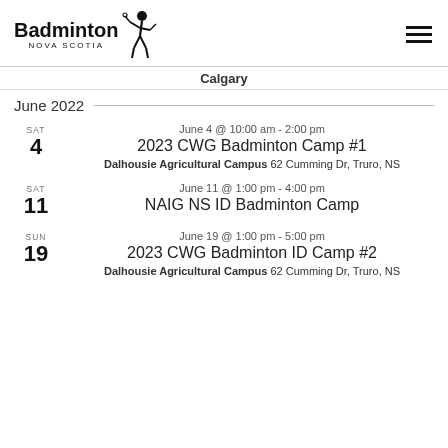Badminton Nova Scotia (logo + hamburger menu)
Calgary
June 2022
SAT 4
June 4 @ 10:00 am - 2:00 pm
2023 CWG Badminton Camp #1
Dalhousie Agricultural Campus 62 Cumming Dr, Truro, NS
SAT 11
June 11 @ 1:00 pm - 4:00 pm
NAIG NS ID Badminton Camp
SUN 19
June 19 @ 1:00 pm - 5:00 pm
2023 CWG Badminton ID Camp #2
Dalhousie Agricultural Campus 62 Cumming Dr, Truro, NS